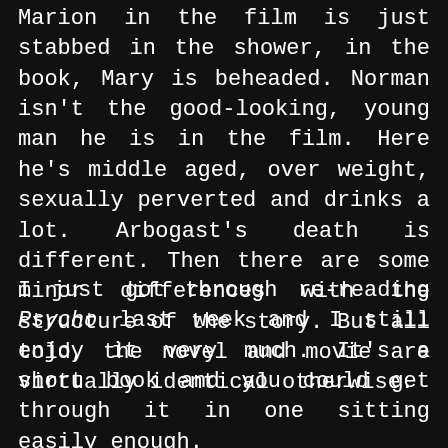Marion in the film is just stabbed in the shower, in the book, Mary is beheaded. Norman isn't the good-looking, young man he is in the film. Here he's middle aged, over weight, sexually perverted and drinks a lot. Arbogast's death is different. Then there are some minor differences with the structure of the story. But all told, the novel and movie are virtually identical otherwise.
I just got through re-reading Psycho last week and I still enjoy it very much. It's a short book and you could get through it in one sitting easily enough.